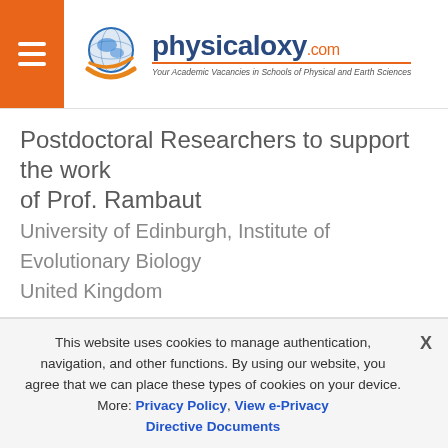physicaloxy.com — Your Academic Vacancies in Schools of Physical and Earth Sciences
Postdoctoral Researchers to support the work of Prof. Rambaut
University of Edinburgh, Institute of Evolutionary Biology
United Kingdom
Postdoctoral Research Associate
Vacancy Ref : 042022
This website uses cookies to manage authentication, navigation, and other functions. By using our website, you agree that we can place these types of cookies on your device. More: Privacy Policy, View e-Privacy Directive Documents